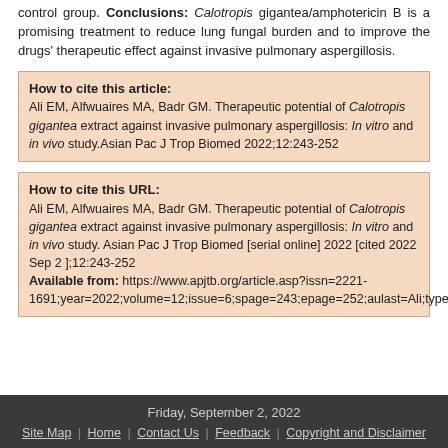control group. Conclusions: Calotropis gigantea/amphotericin B is a promising treatment to reduce lung fungal burden and to improve the drugs' therapeutic effect against invasive pulmonary aspergillosis.
How to cite this article: Ali EM, Alfwuaires MA, Badr GM. Therapeutic potential of Calotropis gigantea extract against invasive pulmonary aspergillosis: In vitro and in vivo study.Asian Pac J Trop Biomed 2022;12:243-252
How to cite this URL: Ali EM, Alfwuaires MA, Badr GM. Therapeutic potential of Calotropis gigantea extract against invasive pulmonary aspergillosis: In vitro and in vivo study. Asian Pac J Trop Biomed [serial online] 2022 [cited 2022 Sep 2 ];12:243-252 Available from: https://www.apjtb.org/article.asp?issn=2221-1691;year=2022;volume=12;issue=6;spage=243;epage=252;aulast=Ali;type=0
Friday, September 2, 2022 | Site Map | Home | Contact Us | Feedback | Copyright and Disclaimer